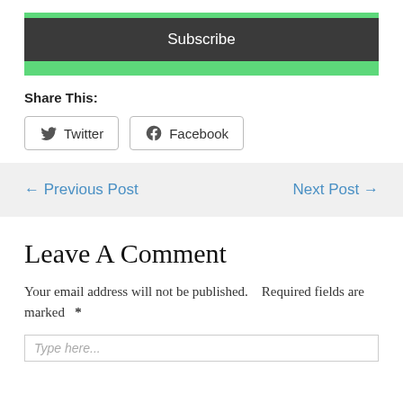[Figure (other): Green subscription box with a Subscribe button on dark background]
Share This:
[Figure (other): Twitter and Facebook share buttons]
← Previous Post
Next Post →
Leave A Comment
Your email address will not be published.    Required fields are marked   *
Type here...